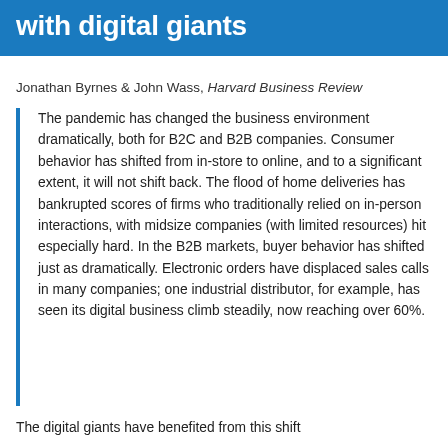with digital giants
Jonathan Byrnes & John Wass, Harvard Business Review
The pandemic has changed the business environment dramatically, both for B2C and B2B companies. Consumer behavior has shifted from in-store to online, and to a significant extent, it will not shift back. The flood of home deliveries has bankrupted scores of firms who traditionally relied on in-person interactions, with midsize companies (with limited resources) hit especially hard. In the B2B markets, buyer behavior has shifted just as dramatically. Electronic orders have displaced sales calls in many companies; one industrial distributor, for example, has seen its digital business climb steadily, now reaching over 60%.
The digital giants have benefited from this shift